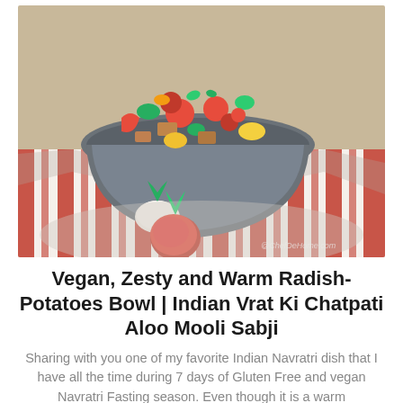[Figure (photo): A bowl filled with colorful vegetables (radish, tomatoes, okra, potatoes, herbs) on a red and white striped cloth, with two radishes placed in front on a decorative surface. Watermark reads @ChefDeHome.com]
Vegan, Zesty and Warm Radish-Potatoes Bowl | Indian Vrat Ki Chatpati Aloo Mooli Sabji
Sharing with you one of my favorite Indian Navratri dish that I have all the time during 7 days of Gluten Free and vegan Navratri Fasting season. Even though it is a warm